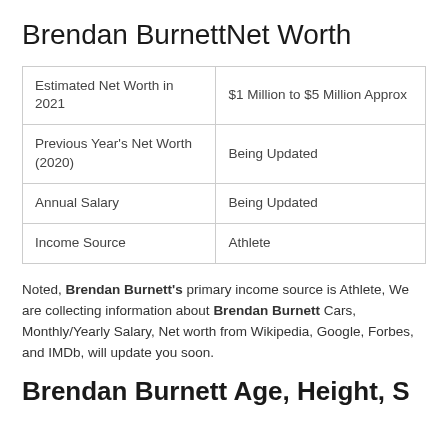Brendan BurnettNet Worth
| Estimated Net Worth in 2021 | $1 Million to $5 Million Approx |
| Previous Year's Net Worth (2020) | Being Updated |
| Annual Salary | Being Updated |
| Income Source | Athlete |
Noted, Brendan Burnett's primary income source is Athlete, We are collecting information about Brendan Burnett Cars, Monthly/Yearly Salary, Net worth from Wikipedia, Google, Forbes, and IMDb, will update you soon.
Brendan Burnett Age, Height, S...